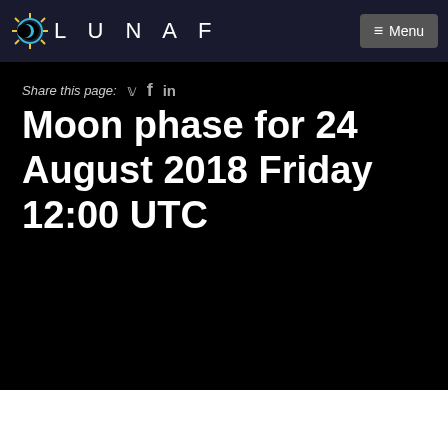LUNAF  ≡ Menu
Share this page:
Moon phase for 24 August 2018 Friday 12:00 UTC